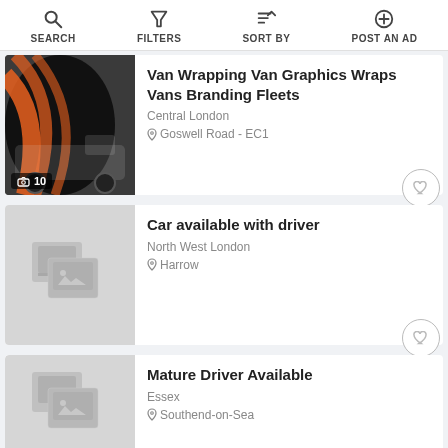SEARCH   FILTERS   SORT BY   POST AN AD
Van Wrapping Van Graphics Wraps Vans Branding Fleets
Central London
Goswell Road - EC1
Car available with driver
North West London
Harrow
Mature Driver Available
Essex
Southend-on-Sea